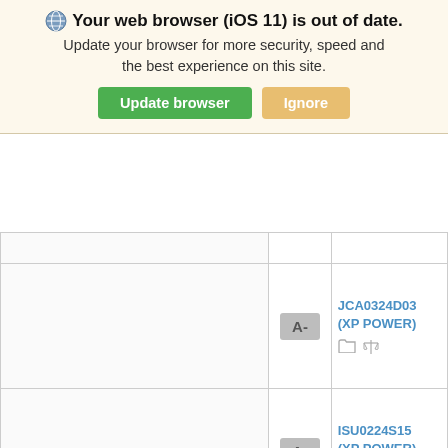[Figure (screenshot): Browser update warning banner with shield icon, bold text 'Your web browser (iOS 11) is out of date.', subtitle text 'Update your browser for more security, speed and the best experience on this site.', a green 'Update browser' button and an orange 'Ignore' button.]
| (empty) | Grade | Item |
| --- | --- | --- |
|  | A- | JCA0324D03 (XP POWER) |
|  | A- | ISU0224S15 (XP POWER) |
|  | A- | ISU0248S15 (XP POWER) |